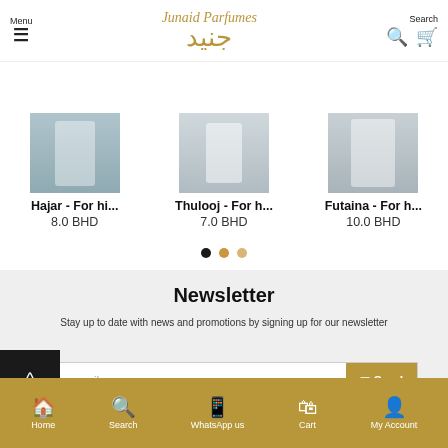Menu | Junaid Parfumes | Search
Hajar - For hi... 8.0 BHD
Thulooj - For h... 7.0 BHD
Futaina - For h... 10.0 BHD
Newsletter
Stay up to date with news and promotions by signing up for our newsletter
Your email
I have read and agree to the Privacy Policy
Home | Search | WhatsApp us | Cart | My Account